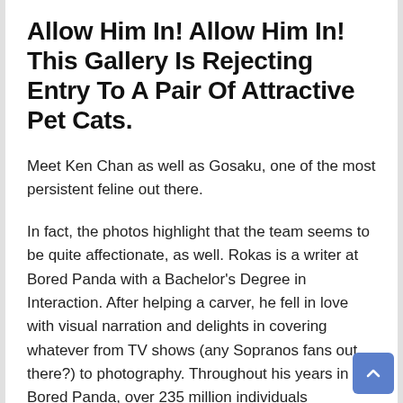Allow Him In! Allow Him In! This Gallery Is Rejecting Entry To A Pair Of Attractive Pet Cats.
Meet Ken Chan as well as Gosaku, one of the most persistent feline out there.
In fact, the photos highlight that the team seems to be quite affectionate, as well. Rokas is a writer at Bored Panda with a Bachelor's Degree in Interaction. After helping a carver, he fell in love with visual narration and delights in covering whatever from TV shows (any Sopranos fans out there?) to photography. Throughout his years in Bored Panda, over 235 million individuals